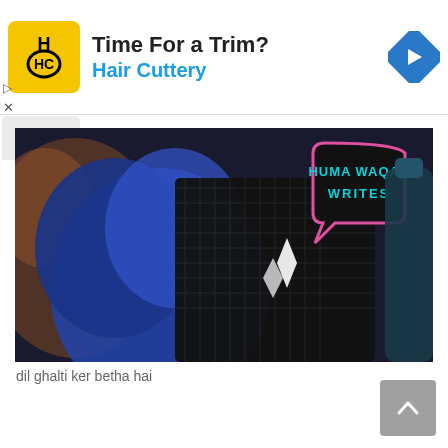[Figure (infographic): Advertisement banner for Hair Cuttery. Shows HC logo in yellow square, text 'Time For a Trim?' in bold and 'Hair Cuttery' in blue, with a blue diamond navigation icon on the right.]
[Figure (photo): Dark image showing a person wearing a blue cap and dark plaid clothing with a speech bubble graphic reading 'HUMA WAQAS WRITES' in cyan letters with pink border.]
dil ghalti ker betha hai